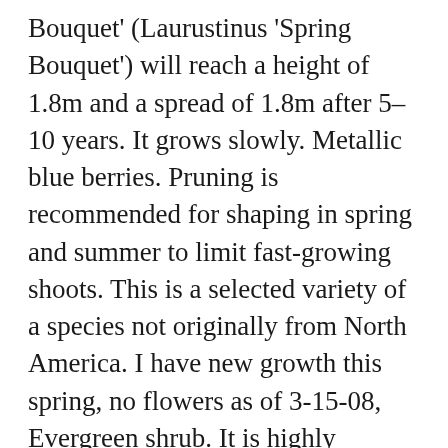Bouquet' (Laurustinus 'Spring Bouquet') will reach a height of 1.8m and a spread of 1.8m after 5-10 years. It grows slowly. Metallic blue berries. Pruning is recommended for shaping in spring and summer to limit fast-growing shoots. This is a selected variety of a species not originally from North America. I have new growth this spring, no flowers as of 3-15-08, Evergreen shrub. It is highly tolerant of urban pollution and will even thrive in inner city environments, and will benefit from being planted in a relatively sheltered location. This is a relatively low maintenance shrub, and should only be pruned after flowering to avoid removing any of the current season's flowers. Compactum grows slowly to just 34 feet tall